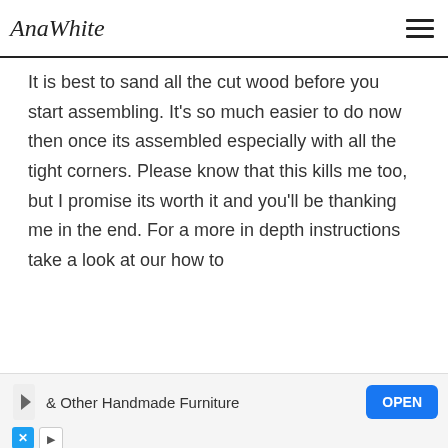AnaWhite
It is best to sand all the cut wood before you start assembling. It's so much easier to do now then once its assembled especially with all the tight corners. Please know that this kills me too, but I promise its worth it and you'll be thanking me in the end. For a more in depth instructions take a look at our how to
[Figure (screenshot): Volvo XC40 Recharge advertisement with car image, color swatches, and order button]
[Figure (screenshot): Black overlay panels flanking the Volvo advertisement]
& Other Handmade Furniture  OPEN